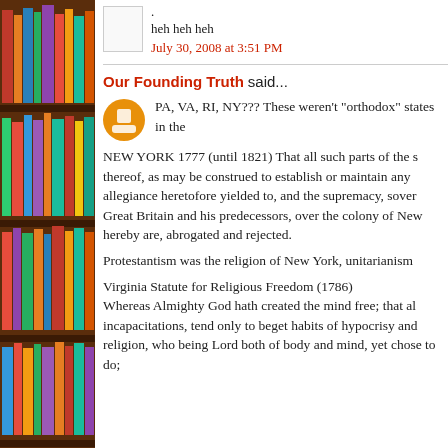[Figure (illustration): Bookshelf with colorful books on the left side of the page]
.
heh heh heh
July 30, 2008 at 3:51 PM
Our Founding Truth said...
PA, VA, RI, NY??? These weren't "orthodox" states in the
NEW YORK 1777 (until 1821) That all such parts of the s thereof, as may be construed to establish or maintain any allegiance heretofore yielded to, and the supremacy, sove Great Britain and his predecessors, over the colony of Ne hereby are, abrogated and rejected.
Protestantism was the religion of New York, unitarianism
Virginia Statute for Religious Freedom (1786)
Whereas Almighty God hath created the mind free; that a incapacitations, tend only to beget habits of hypocrisy an religion, who being Lord both of body and mind, yet chos to do;